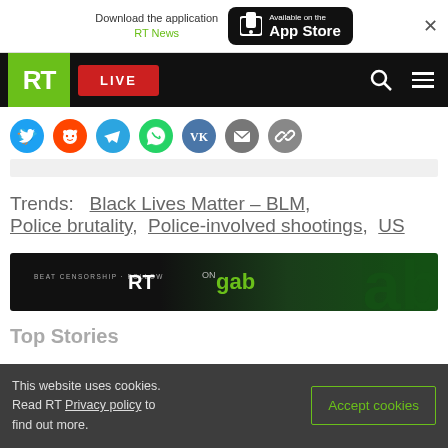Download the application RT News — Available on the App Store
[Figure (screenshot): RT news website navigation bar with RT logo, LIVE button, search and menu icons]
[Figure (infographic): Social sharing icons row: Twitter, Reddit, Telegram, WhatsApp, VK, Email, Link]
Trends: Black Lives Matter – BLM, Police brutality, Police-involved shootings, US
[Figure (infographic): RT on Gab advertisement banner: BEAT CENSORSHIP - FOLLOW RT ON gab]
Top Stories
This website uses cookies. Read RT Privacy policy to find out more.
Accept cookies